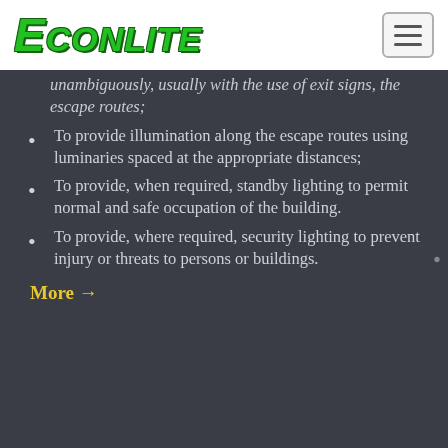ECONLITE
unambiguously, usually with the use of exit signs, the escape routes;
To provide illumination along the escape routes using luminaries spaced at the appropriate distances;
To provide, when required, standby lighting to permit normal and safe occupation of the building.
To provide, where required, security lighting to prevent injury or threats to persons or buildings.
More →